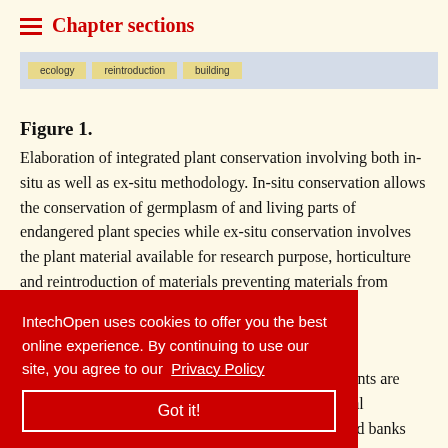Chapter sections
[Figure (screenshot): Navigation bar with tags: ecology, reintroduction, building on a light blue background]
Figure 1. Elaboration of integrated plant conservation involving both in-situ as well as ex-situ methodology. In-situ conservation allows the conservation of germplasm of and living parts of endangered plant species while ex-situ conservation involves the plant material available for research purpose, horticulture and reintroduction of materials preventing materials from getting extinct.
IntechOpen uses cookies to offer you the best online experience. By continuing to use our site, you agree to our Privacy Policy
Got it!
llection of e the plants are grown under natural conditions [41]. Seed banks